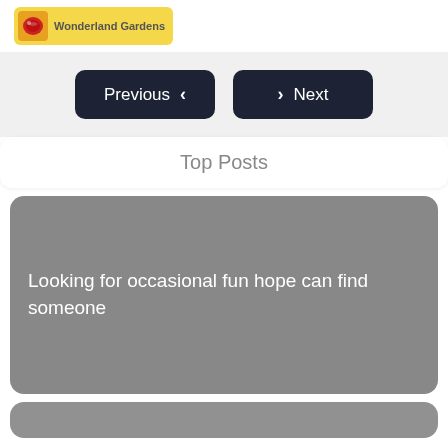Wonderland Gardens
Previous  Next
Top Posts
Looking for occasional fun hope can find someone